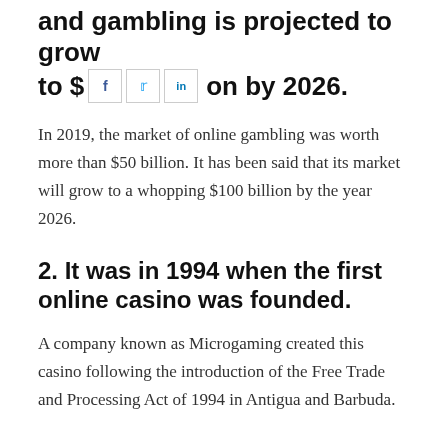and gambling is projected to grow to $92 billion by 2026.
In 2019, the market of online gambling was worth more than $50 billion. It has been said that its market will grow to a whopping $100 billion by the year 2026.
2. It was in 1994 when the first online casino was founded.
A company known as Microgaming created this casino following the introduction of the Free Trade and Processing Act of 1994 in Antigua and Barbuda.